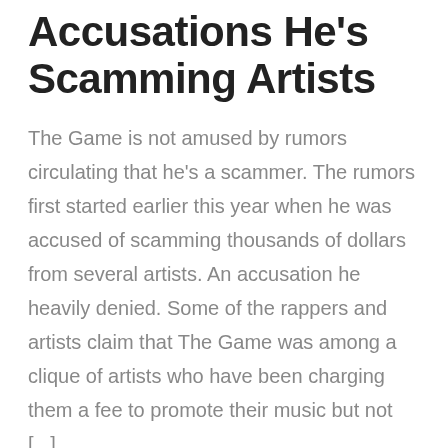Accusations He's Scamming Artists
The Game is not amused by rumors circulating that he's a scammer. The rumors first started earlier this year when he was accused of scamming thousands of dollars from several artists. An accusation he heavily denied. Some of the rappers and artists claim that The Game was among a clique of artists who have been charging them a fee to promote their music but not [...]